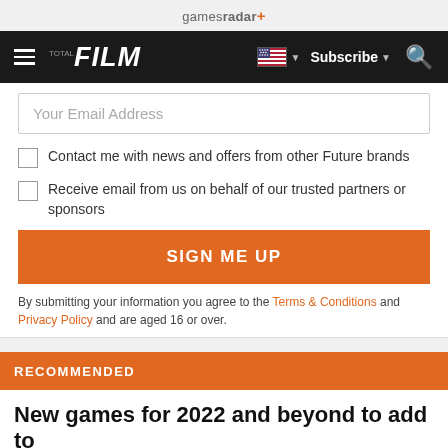gamesradar+
[Figure (screenshot): Navigation bar with hamburger menu, FILM logo, US flag dropdown, Subscribe button, and search icon on dark background]
Your Email Address
Contact me with news and offers from other Future brands
Receive email from us on behalf of our trusted partners or sponsors
SIGN ME UP
By submitting your information you agree to the Terms & Conditions and Privacy Policy and are aged 16 or over.
RECOMMENDED
New games for 2022 and beyond to add to